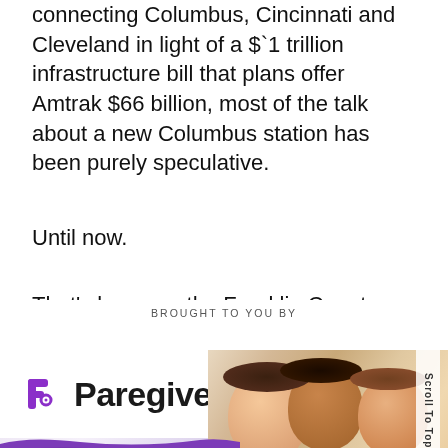connecting Columbus, Cincinnati and Cleveland in light of a $`1 trillion infrastructure bill that plans offer Amtrak $66 billion, most of the talk about a new Columbus station has been purely speculative.
Until now.
That's because the Franklin County Convention Facilities Authority recently released a plan detailing where the station would go and how might would look.
BROUGHT TO YOU BY
[Figure (logo): Paregiver advertisement banner with logo showing a stylized 'P' icon in purple, bold 'Paregiver' text, children photo on right side, and 'EMPOWERING, EDUCATING' text on purple brush stroke at bottom. 'Scroll To Top' vertical text on right edge.]